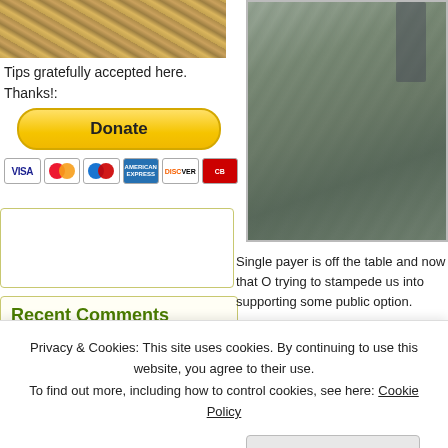[Figure (photo): Partial view of a food dish (top-left corner)]
Tips gratefully accepted here. Thanks!:
[Figure (other): PayPal Donate button with payment card icons (VISA, Mastercard, Maestro, American Express, Discover, another card)]
[Figure (photo): Man in a plaid suit (partially visible, right side of page)]
Recent Comments
William on My Unforced Wordle Error
jmac on My Unforced Wordle Error
Single payer is off the table and now that O trying to stampede us into supporting some public option.
When hustlers are running their scams and...
Privacy & Cookies: This site uses cookies. By continuing to use this website, you agree to their use.
To find out more, including how to control cookies, see here: Cookie Policy
Close and accept
Carl on My Unforced...